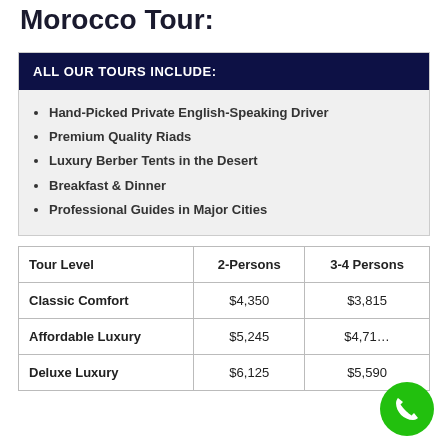Morocco Tour:
ALL OUR TOURS INCLUDE:
Hand-Picked Private English-Speaking Driver
Premium Quality Riads
Luxury Berber Tents in the Desert
Breakfast & Dinner
Professional Guides in Major Cities
| Tour Level | 2-Persons | 3-4 Persons |
| --- | --- | --- |
| Classic Comfort | $4,350 | $3,815 |
| Affordable Luxury | $5,245 | $4,71… |
| Deluxe Luxury | $6,125 | $5,590 |